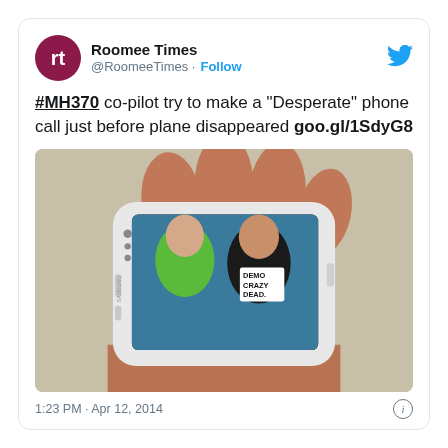[Figure (screenshot): Tweet from @RoomeeTimes showing a post about #MH370 co-pilot phone call, with an image of a hand holding a Samsung smartphone displaying a photo of two men.]
1:23 PM · Apr 12, 2014